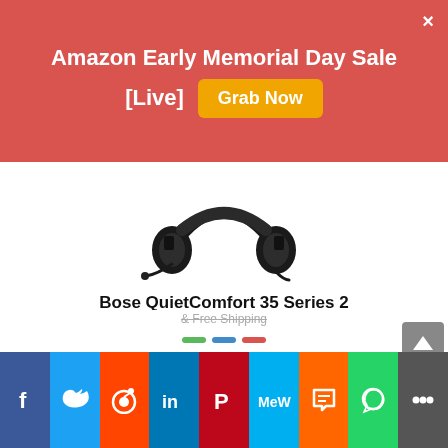Amazon Early Memorial Day Sale [Live] Grab Now
[Figure (photo): Bose QuietComfort 35 Series 2 Gaming Headset product photo — black over-ear headphones with attached boom microphone]
Bose QuietComfort 35 Series 2 Gaming Headset — Comfortable Noise Cancelling Headphones...
2-in-1 gaming headset — The first headset from Bose engineered for both wired gaming and wireless lifestyle use. Play everything from the latest games to your favorite music with these 2-in-1 headphones.
& Free Shipping
[Figure (infographic): Social share bar with buttons: Facebook, Twitter, Reddit, LinkedIn, Pinterest, MeWe, Mix, WhatsApp, Share]